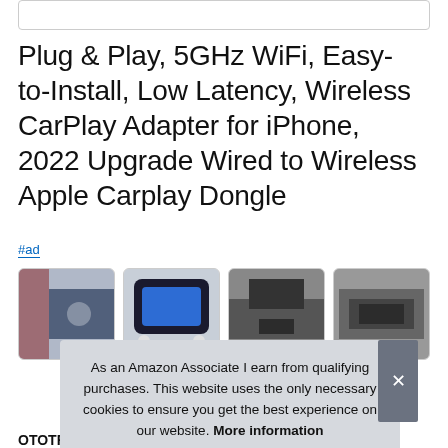Plug & Play, 5GHz WiFi, Easy-to-Install, Low Latency, Wireless CarPlay Adapter for iPhone, 2022 Upgrade Wired to Wireless Apple Carplay Dongle
#ad
[Figure (photo): Four thumbnail images of a wireless CarPlay adapter product]
As an Amazon Associate I earn from qualifying purchases. This website uses the only necessary cookies to ensure you get the best experience on our website. More information
OTOTREE #ad - Plugging in your iPhone is no longer required.